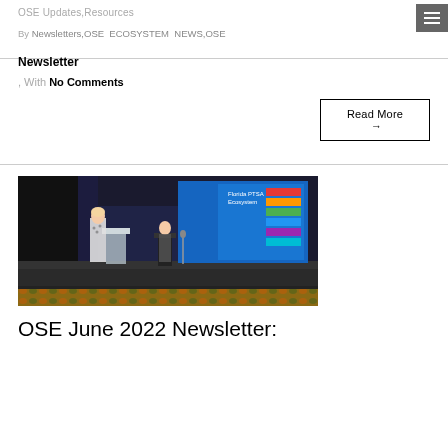OSE Updates,Resources
By Newsletters,OSE ECOSYSTEM NEWS,OSE Newsletter
, With No Comments
Read More →
[Figure (photo): Two women speaking on a conference stage with a large screen displaying 'Ecosystem' text and colorful graphics behind them. The venue has dark curtains and patterned carpet.]
OSE June 2022 Newsletter: